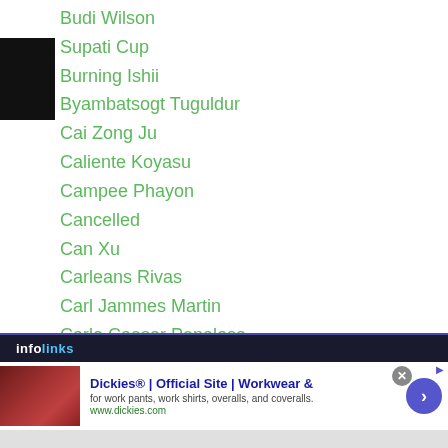Budi Wilson
Supati Cup
Burning Ishii
Byambatsogt Tuguldur
Cai Zong Ju
Caliente Koyasu
Campee Phayon
Cancelled
Can Xu
Carleans Rivas
Carl Jammes Martin
Carlo Caesar Penalosa
Carlo Demecillo
Carlo Magali
Carlo Penalosa
Carlos Cuadras
[Figure (screenshot): Advertisement banner for Dickies workwear with infolinks branding]